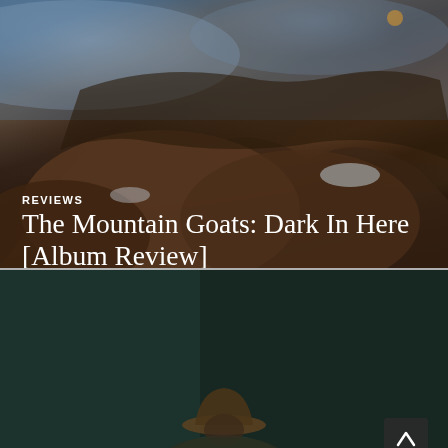[Figure (photo): Dark atmospheric landscape photo showing rocky terrain with brownish earthy mounds, some snow visible, and a bluish-grey sky in the upper portion. Dark moody tones throughout.]
REVIEWS
The Mountain Goats: Dark In Here [Album Review]
[Figure (photo): Dark teal/green background with a partially visible figure wearing a hat at the bottom of the frame. A scroll-up button with a chevron arrow is visible on the right side.]